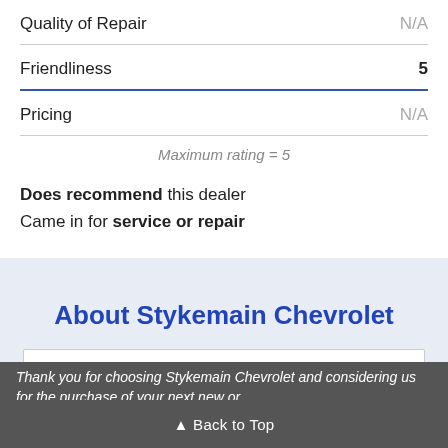| Category | Rating |
| --- | --- |
| Quality of Repair | N/A |
| Friendliness | 5 |
| Pricing | N/A |
Maximum rating = 5
Does recommend this dealer
Came in for service or repair
About Stykemain Chevrolet
▲ Back to Top
Thank you for choosing Stykemain Chevrolet and considering us for the purchase of your next new or